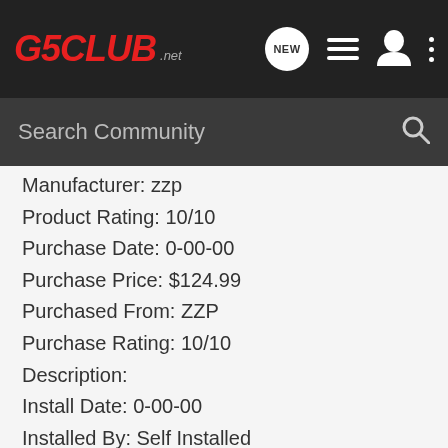[Figure (logo): G5CLUB.net logo in top navigation bar]
G5CLUB.net navigation bar with NEW, list, user, and more icons, and Search Community search bar
Manufacturer: zzp
Product Rating: 10/10
Purchase Date: 0-00-00
Purchase Price: $124.99
Purchased From: ZZP
Purchase Rating: 10/10
Description:
Install Date: 0-00-00
Installed By: Self Installed
Installation Rating: 10/10
Comments:
My G5 is my first car bought in 2011 with ~23,000 miles on it. Since then I have upgraded the car and done a some little things myself. I enjoy doing my own work and plan on making